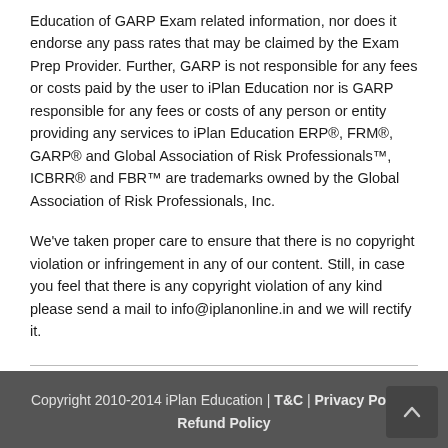Education of GARP Exam related information, nor does it endorse any pass rates that may be claimed by the Exam Prep Provider. Further, GARP is not responsible for any fees or costs paid by the user to iPlan Education nor is GARP responsible for any fees or costs of any person or entity providing any services to iPlan Education ERP®, FRM®, GARP® and Global Association of Risk Professionals™, ICBRR® and FBR™ are trademarks owned by the Global Association of Risk Professionals, Inc.
We've taken proper care to ensure that there is no copyright violation or infringement in any of our content. Still, in case you feel that there is any copyright violation of any kind please send a mail to info@iplanonline.in and we will rectify it.
Copyright 2010-2014 iPlan Education | T&C | Privacy Policy | Refund Policy